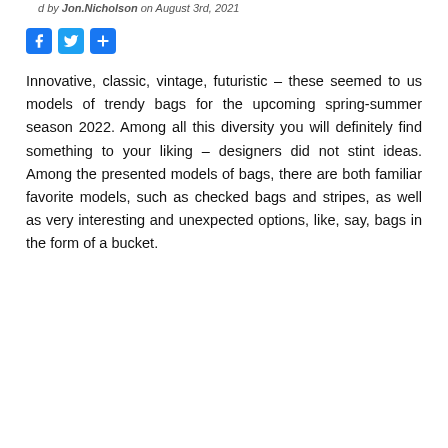d by Jon.Nicholson on August 3rd, 2021
[Figure (other): Social media share icons: Facebook (blue), Twitter (blue bird), and a share/plus button]
Innovative, classic, vintage, futuristic – these seemed to us models of trendy bags for the upcoming spring-summer season 2022. Among all this diversity you will definitely find something to your liking – designers did not stint ideas. Among the presented models of bags, there are both familiar favorite models, such as checked bags and stripes, as well as very interesting and unexpected options, like, say, bags in the form of a bucket.